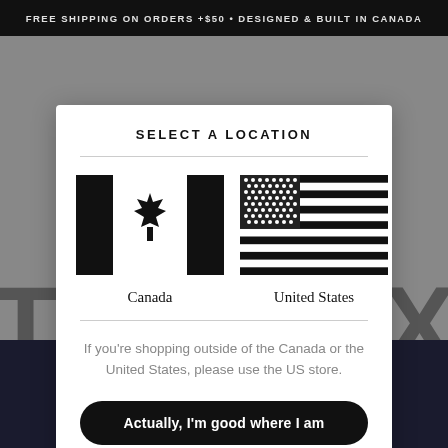FREE SHIPPING ON ORDERS +$50 • DESIGNED & BUILT IN CANADA
SELECT A LOCATION
[Figure (illustration): Canadian flag in black and white — two black vertical bars flanking a white center with a black maple leaf]
Canada
[Figure (illustration): United States flag in black and white — stars and stripes pattern with black canton area containing white stars]
United States
If you're shopping outside of the Canada or the United States, please use the US store.
Actually, I'm good where I am